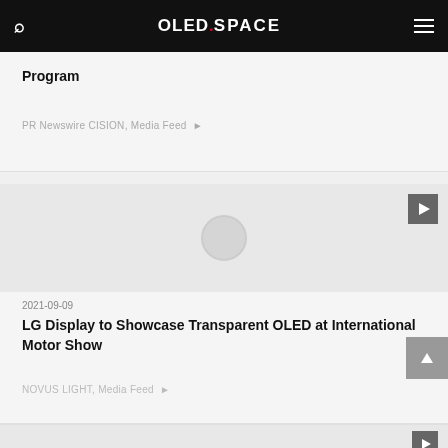OLED.SPACE
Program
PR Newswire CISION, Media Feed »
[Figure (screenshot): Video thumbnail with circular loading spinner and play button in top right corner]
2021-09-09
LG Display to Showcase Transparent OLED at International Motor Show
NOVUS LIGHT, Media Feed »
[Figure (screenshot): Partial card thumbnail area at bottom of page]